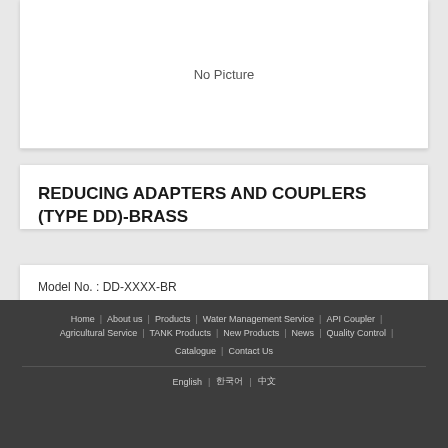[Figure (photo): No Picture placeholder area for product image]
REDUCING ADAPTERS AND COUPLERS (TYPE DD)-BRASS
Model No. : DD-XXXX-BR
Brand Name : WS
Back to Top
Home | About us | Products | Water Management Service | API Coupler | Agricultural Service | TANK Products | New Products | News | Quality Control | Catalogue | Contact Us | English | 한국어 | 中文